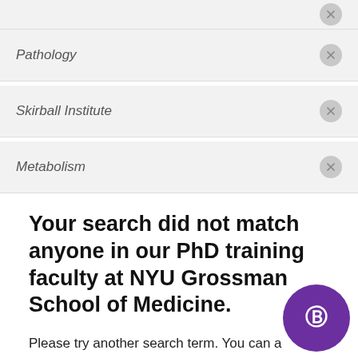Pathology
Skirball Institute
Metabolism
Your search did not match anyone in our PhD training faculty at NYU Grossman School of Medicine.
Please try another search term. You can also search a complete list of training faculty or search all of our NYU Grossman School of